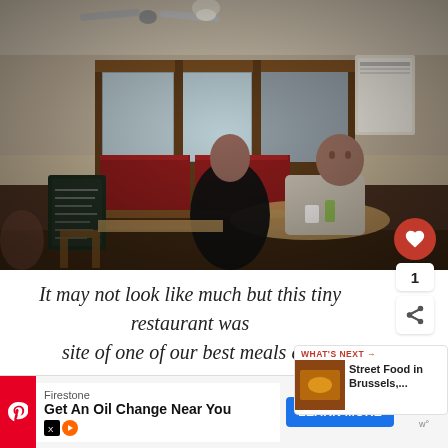[Figure (photo): Interior of a small, vintage-style restaurant. Two men are seated at a table eating. Behind them is a wooden cabinet with glass panels and red curtains, suggesting a kitchen entrance. A ceiling fan and pendant light are visible. A chalkboard menu is on the left side.]
It may not look like much but this tiny restaurant was site of one of our best meals eve
WHAT'S NEXT → Street Food in Brussels,...
Firestone Get An Oil Change Near You LEARN MORE